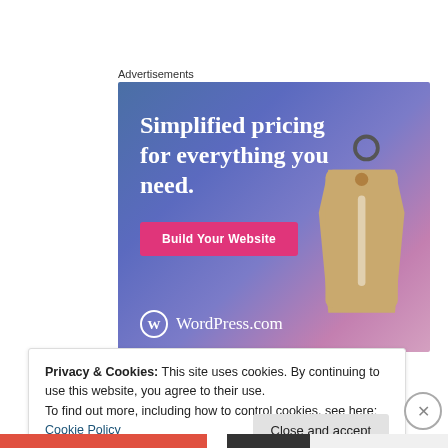Advertisements
[Figure (illustration): WordPress.com advertisement banner with gradient blue-purple-pink background. Text reads 'Simplified pricing for everything you need.' with a pink 'Build Your Website' button and a price tag image on the right. WordPress.com logo at the bottom left.]
Privacy & Cookies: This site uses cookies. By continuing to use this website, you agree to their use.
To find out more, including how to control cookies, see here: Cookie Policy
Close and accept